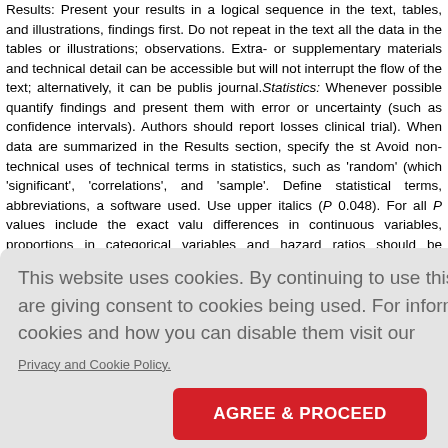Results: Present your results in a logical sequence in the text, tables, and illustrations, findings first. Do not repeat in the text all the data in the tables or illustrations; observations. Extra- or supplementary materials and technical detail can be accessible but will not interrupt the flow of the text; alternatively, it can be published journal.Statistics: Whenever possible quantify findings and present them with error or uncertainty (such as confidence intervals). Authors should report losses clinical trial). When data are summarized in the Results section, specify the st Avoid non-technical uses of technical terms in statistics, such as 'random' (which 'significant', 'correlations', and 'sample'. Define statistical terms, abbreviations, a software used. Use upper italics (P 0.048). For all P values include the exact value differences in continuous variables, proportions in categorical variables and hazard ratios should be accompanied by their confidence intervals.
[Figure (screenshot): Cookie consent overlay with text: 'This website uses cookies. By continuing to use this website you are giving consent to cookies being used. For information on cookies and how you can disable them visit our Privacy and Cookie Policy.' and a red button 'AGREE & PROCEED']
Do not repeat in detail data or other material given in the Introduction or the R